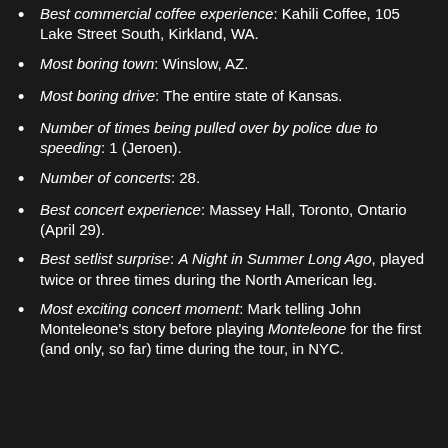Best commercial coffee experience: Kahili Coffee, 105 Lake Street South, Kirkland, WA.
Most boring town: Winslow, AZ.
Most boring drive: The entire state of Kansas.
Number of times being pulled over by police due to speeding: 1 (Jeroen).
Number of concerts: 28.
Best concert experience: Massey Hall, Toronto, Ontario (April 29).
Best setlist surprise: A Night in Summer Long Ago, played twice or three times during the North American leg.
Most exciting concert moment: Mark telling John Monteleone's story before playing Monteleone for the first (and only, so far) time during the tour, in NYC.